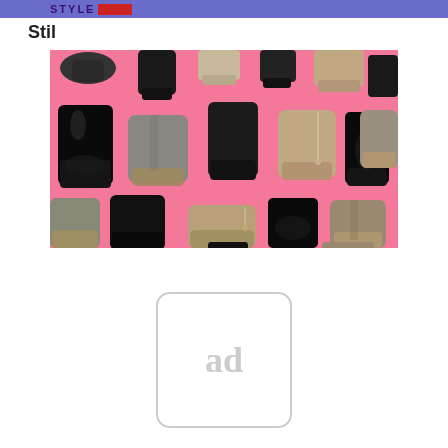STYLE
Stil
[Figure (photo): Collage of various ankle boots arranged on a pink background, including black patent leather boots, grey suede boots, taupe leather boots, and brown booties in multiple styles.]
[Figure (other): Ad placeholder box with rounded corners containing the text 'ad' in grey.]